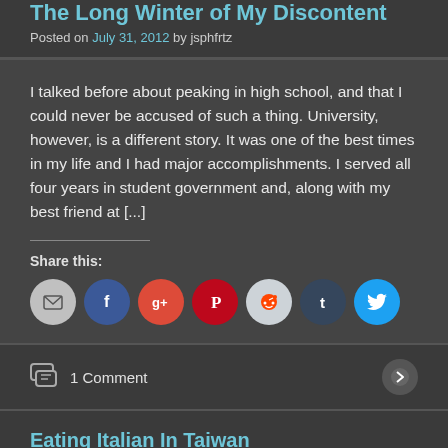The Long Winter of My Discontent
Posted on July 31, 2012 by jsphfrtz
I talked before about peaking in high school, and that I could never be accused of such a thing. University, however, is a different story. It was one of the best times in my life and I had major accomplishments. I served all four years in student government and, along with my best friend at [...]
Share this:
[Figure (infographic): Row of social share icon circles: email (gray), Facebook (dark blue), Google+ (orange-red), Pinterest (red), Reddit (light gray), Tumblr (dark blue), Twitter (cyan blue)]
1 Comment
Eating Italian In Taiwan
Posted on July 30, 2012 by jsphfrtz